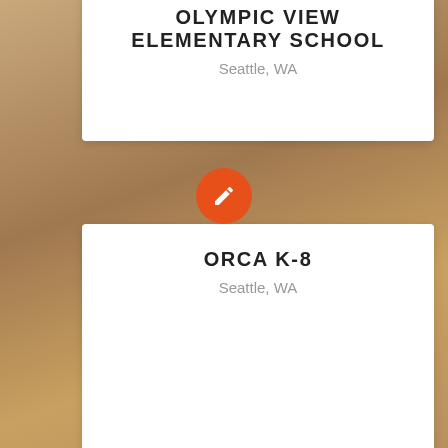OLYMPIC VIEW ELEMENTARY SCHOOL
Seattle, WA
ORCA K-8
Seattle, WA
ROXHILL ELEMENTARY SCHOOL
Seattle, WA